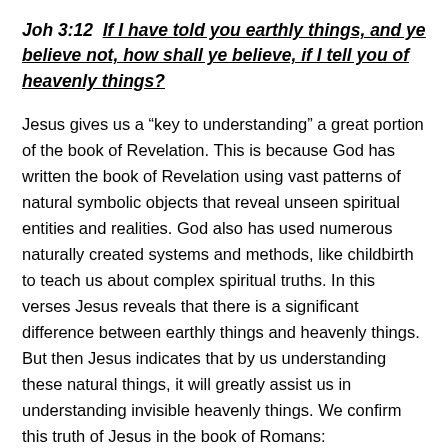Joh 3:12  If I have told you earthly things, and ye believe not, how shall ye believe, if I tell you of heavenly things?
Jesus gives us a “key to understanding” a great portion of the book of Revelation. This is because God has written the book of Revelation using vast patterns of natural symbolic objects that reveal unseen spiritual entities and realities. God also has used numerous naturally created systems and methods, like childbirth to teach us about complex spiritual truths. In this verses Jesus reveals that there is a significant difference between earthly things and heavenly things. But then Jesus indicates that by us understanding these natural things, it will greatly assist us in understanding invisible heavenly things. We confirm this truth of Jesus in the book of Romans: